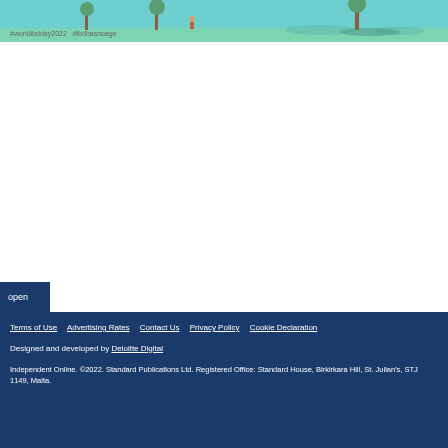[Figure (illustration): Illustrated banner showing trees and figures on a teal/cyan background with hashtags #worldibdday2022 and #ibdhasnoage]
open
Terms of Use   Advertising Rates   Contact Us   Privacy Policy   Cookie Declaration
Designed and developed by Deloitte Digital
Independent Online. ©2022. Standard Publications Ltd. Registered Office: Standard House, Birkirkara Hill, St. Julian's, STJ 1149, Malta.